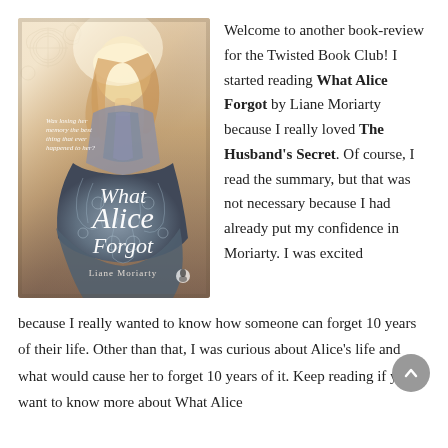[Figure (photo): Book cover of 'What Alice Forgot' by Liane Moriarty. Features a woman in an ornate blue-grey dress with swirling patterns, text reads 'Was losing her memory the best thing that ever happened to her?' at top, book title 'What Alice Alice Forgot' in large script, author name 'Liane Moriarty' at bottom with Penguin logo.]
Welcome to another book-review for the Twisted Book Club! I started reading What Alice Forgot by Liane Moriarty because I really loved The Husband's Secret. Of course, I read the summary, but that was not necessary because I had already put my confidence in Moriarty. I was excited because I really wanted to know how someone can forget 10 years of their life. Other than that, I was curious about Alice's life and what would cause her to forget 10 years of it. Keep reading if you want to know more about What Alice